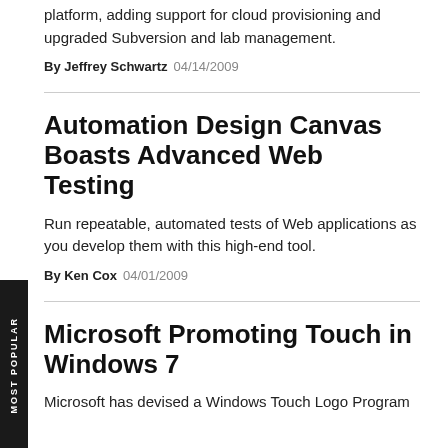platform, adding support for cloud provisioning and upgraded Subversion and lab management.
By Jeffrey Schwartz 04/14/2009
Automation Design Canvas Boasts Advanced Web Testing
Run repeatable, automated tests of Web applications as you develop them with this high-end tool.
By Ken Cox 04/01/2009
Microsoft Promoting Touch in Windows 7
Microsoft has devised a Windows Touch Logo Program